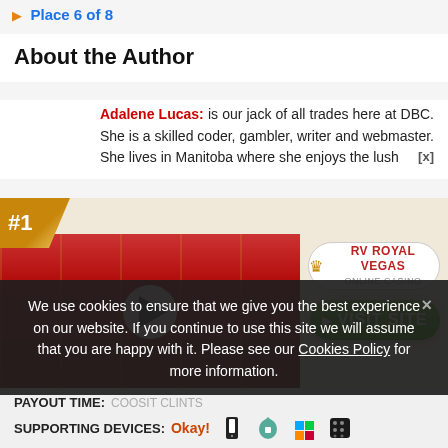▶ Place 6 of 8
About the Author
Adalene Lucas: is our jack of all trades here at DBC. She is a skilled coder, gambler, writer and webmaster. She lives in Manitoba where she enjoys the lush
[Figure (screenshot): Casino slot machine game screenshot with #1 badge and play button overlay, Royal Vegas online casino logo and green VISIT SITE button]
We use cookies to ensure that we give you the best experience on our website. If you continue to use this site we will assume that you are happy with it. Please see our Cookies Policy for more information.
PAYOUT TIME:
SUPPORTING DEVICES: Okay!